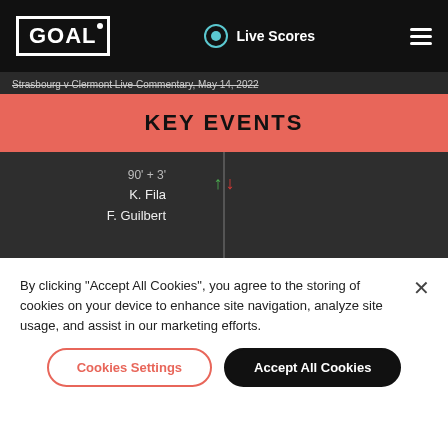GOAL Live Scores
Strasbourg v Clermont Live Commentary, May 14, 2022
KEY EVENTS
90' + 3' | K. Fila / F. Guilbert | Substitution (arrows up/down)
48' | A. Seidu | Yellow Card
34' | D. Liénard | Yellow Card
By clicking "Accept All Cookies", you agree to the storing of cookies on your device to enhance site navigation, analyze site usage, and assist in our marketing efforts.
Cookies Settings    Accept All Cookies